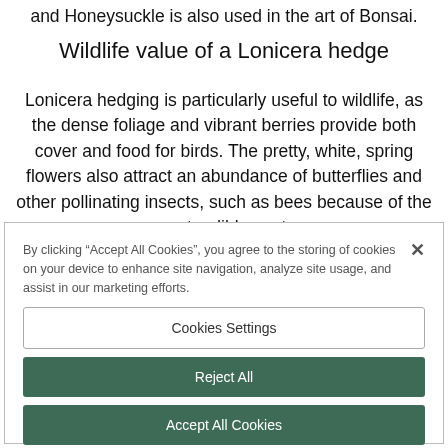and Honeysuckle is also used in the art of Bonsai.
Wildlife value of a Lonicera hedge
Lonicera hedging is particularly useful to wildlife, as the dense foliage and vibrant berries provide both cover and food for birds. The pretty, white, spring flowers also attract an abundance of butterflies and other pollinating insects, such as bees because of the sweet, edible nectar
By clicking “Accept All Cookies”, you agree to the storing of cookies on your device to enhance site navigation, analyze site usage, and assist in our marketing efforts.
Cookies Settings
Reject All
Accept All Cookies